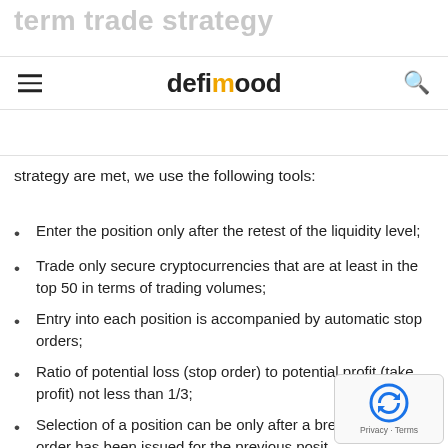term trade strategy
defimood
strategy are met, we use the following tools:
Enter the position only after the retest of the liquidity level;
Trade only secure cryptocurrencies that are at least in the top 50 in terms of trading volumes;
Entry into each position is accompanied by automatic stop orders;
Ratio of potential loss (stop order) to potential profit (take profit) not less than 1/3;
Selection of a position can be only after a break-even stop order has been issued for the previous posit…
Limits are set for the maximum loss, which can b… strategy for a month. When the maximum loss is…